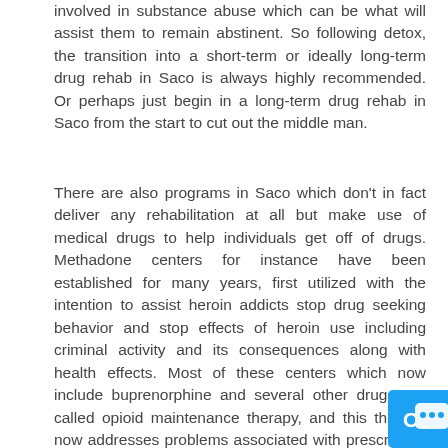involved in substance abuse which can be what will assist them to remain abstinent. So following detox, the transition into a short-term or ideally long-term drug rehab in Saco is always highly recommended. Or perhaps just begin in a long-term drug rehab in Saco from the start to cut out the middle man.
There are also programs in Saco which don't in fact deliver any rehabilitation at all but make use of medical drugs to help individuals get off of drugs. Methadone centers for instance have been established for many years, first utilized with the intention to assist heroin addicts stop drug seeking behavior and stop effects of heroin use including criminal activity and its consequences along with health effects. Most of these centers which now include buprenorphine and several other drugs are called opioid maintenance therapy, and this therapy now addresses problems associated with prescription medication abuse since these drugs are now abused at similar rates to heroin these days. The reason some individuals may turn to this sort of center as being a solution is they feel they can't cope with the cravings and withdrawal symptoms that they will ultimately have to deal w...
[Figure (other): Blue chat widget button with 'Chat now' text and chat bubble icon, overlaid at bottom right of page]